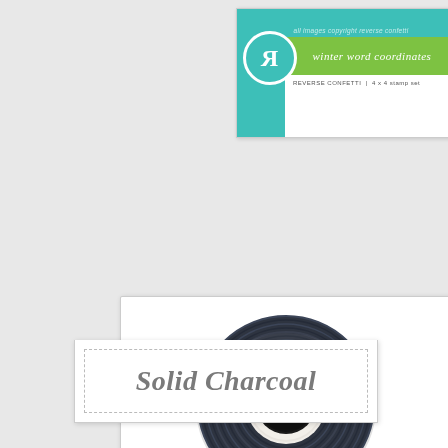[Figure (illustration): Reverse Confetti stamp set product card for 'winter word coordinates', 4x4 stamp set, with teal background, green bar, and reversed R logo]
[Figure (photo): A spool of solid charcoal (dark navy/charcoal) baker's twine wound into a flat disc shape, viewed from above, showing the white cardboard core]
Solid Charcoal